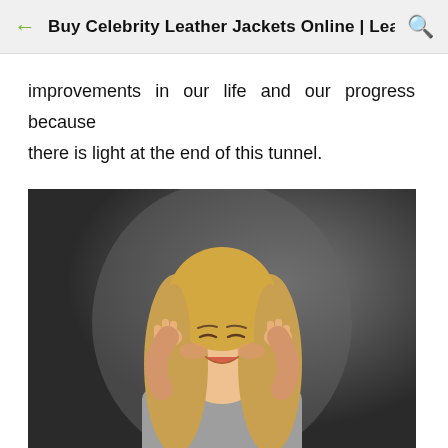Buy Celebrity Leather Jackets Online | Lea...
improvements in our life and our progress because there is light at the end of this tunnel.
[Figure (photo): A smiling young woman with long blonde hair, eyes closed, hands raised to her temples, wearing a grey t-shirt, posed against a dark grey studio background.]